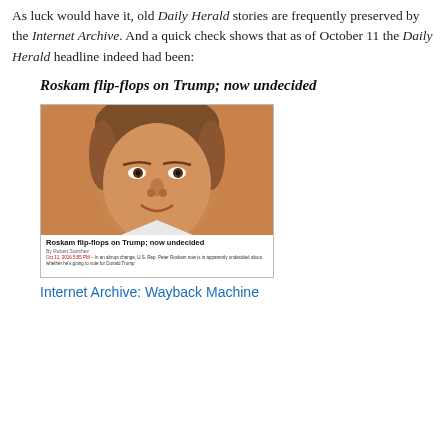As luck would have it, old Daily Herald stories are frequently preserved by the Internet Archive. And a quick check shows that as of October 11 the Daily Herald headline indeed had been:
Roskam flip-flops on Trump; now undecided
[Figure (screenshot): Screenshot of Daily Herald article with headline 'Roskam flip-flops on Trump; now undecided', byline 'By Robert Sanchez', date 'Oct 11, 2016 5:55 PM', and photo of Peter Roskam]
Internet Archive: Wayback Machine